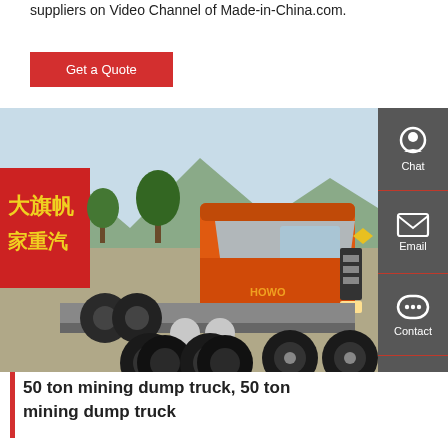suppliers on Video Channel of Made-in-China.com.
Get a Quote
[Figure (photo): Orange heavy-duty HOWO mining/dump truck chassis (6x4 configuration) parked outdoors with mountains and a red billboard with Chinese characters in the background. The truck is primarily orange with black wheels and chrome fuel tanks.]
Chat
Email
Contact
Top
50 ton mining dump truck, 50 ton mining dump truck